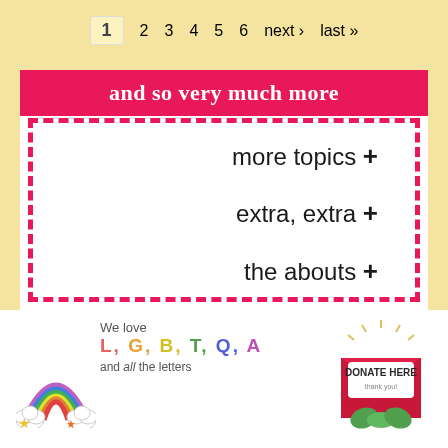1  2  3  4  5  6  next›  last»
and so very much more
more topics +
extra, extra +
the abouts +
[Figure (illustration): Rainbow and clouds with LGBTQA letters and stars, text reading 'We love L, G, B, T, Q, A and all the letters']
[Figure (illustration): Donate here envelope with green leaves and radiating lines illustration]